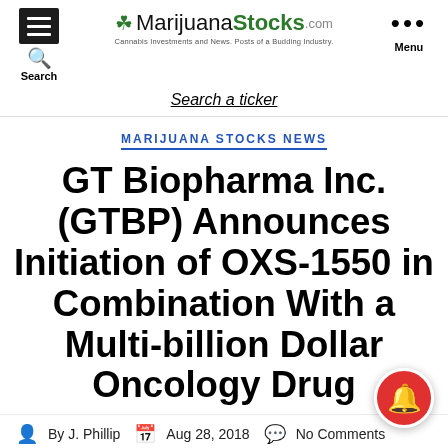MarijuanaStocks.com — Cannabis Investments and News. Posts of a Budding Industry.
Search a ticker
MARIJUANA STOCKS NEWS
GT Biopharma Inc. (GTBP) Announces Initiation of OXS-1550 in Combination With a Multi-billion Dollar Oncology Drug
By J. Phillip   Aug 28, 2018   No Comments